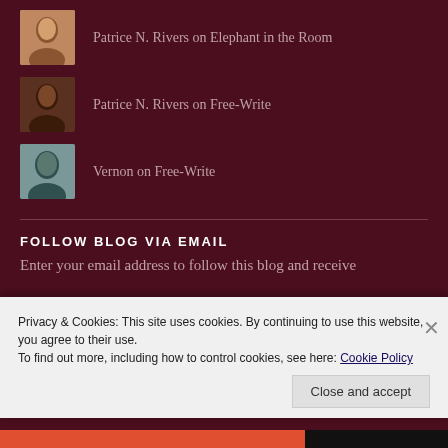Patrice N. Rivers on Elephant in the Room
Patrice N. Rivers on Free-Write
Vernon on Free-Write
FOLLOW BLOG VIA EMAIL
Enter your email address to follow this blog and receive
Privacy & Cookies: This site uses cookies. By continuing to use this website, you agree to their use.
To find out more, including how to control cookies, see here: Cookie Policy
Close and accept